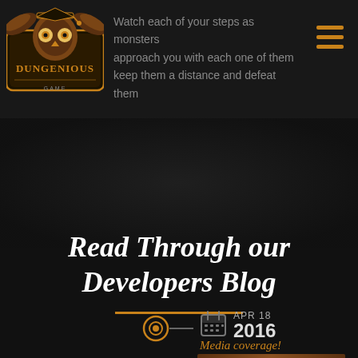Dungenious — Watch each of your steps as monsters approach you with each one of them keep them a distance and defeat them
[Figure (logo): Dungenious game logo with owl wearing graduation cap and wings]
Read Through our Developers Blog
APR 18 2016
Media coverage!